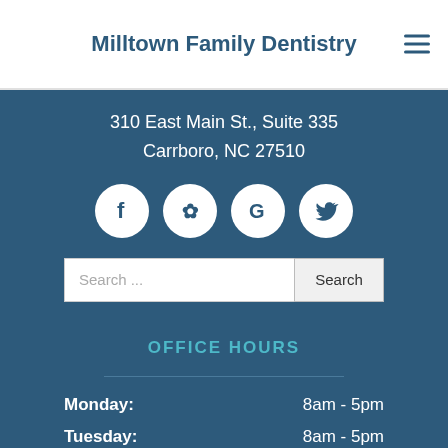Milltown Family Dentistry
310 East Main St., Suite 335
Carrboro, NC 27510
[Figure (infographic): Four social media icon circles: Facebook (f), Yelp (flower/star), Google (G), Twitter (bird)]
Search ...
OFFICE HOURS
Monday: 8am - 5pm
Tuesday: 8am - 5pm